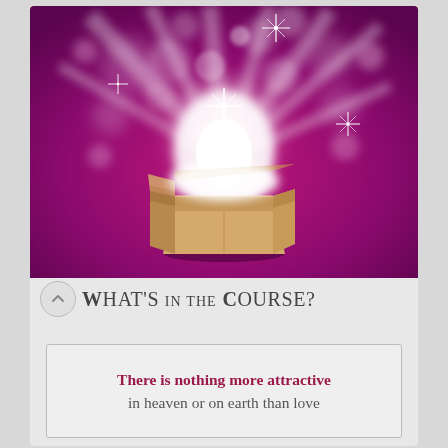[Figure (illustration): An open cardboard box with magical glowing light, sparkles, bokeh circles, and star bursts emanating upward against a purple/magenta background.]
What's in the Course?
There is nothing more attractive in heaven or on earth than love